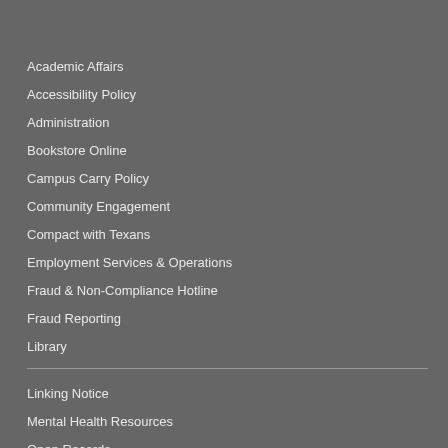Academic Affairs
Accessibility Policy
Administration
Bookstore Online
Campus Carry Policy
Community Engagement
Compact with Texans
Employment Services & Operations
Fraud & Non-Compliance Hotline
Fraud Reporting
Library
Linking Notice
Mental Health Resources
Open Records
Parking & Transportation Services
UHD Police Department